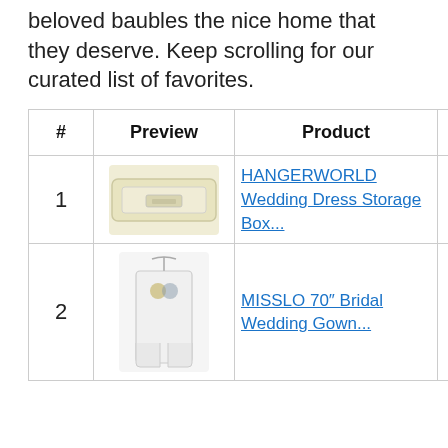beloved baubles the nice home that they deserve. Keep scrolling for our curated list of favorites.
| # | Preview | Product | Score |  |
| --- | --- | --- | --- | --- |
| 1 | [image] | HANGERWORLD Wedding Dress Storage Box... | 9.60 | B A |
| 2 | [image] | MISSLO 70″ Bridal Wedding Gown... | 9.90 | B A |